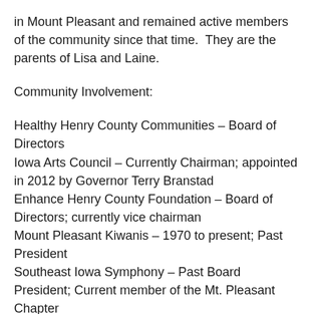in Mount Pleasant and remained active members of the community since that time.  They are the parents of Lisa and Laine.
Community Involvement:
Healthy Henry County Communities – Board of Directors
Iowa Arts Council – Currently Chairman; appointed in 2012 by Governor Terry Branstad
Enhance Henry County Foundation – Board of Directors; currently vice chairman
Mount Pleasant Kiwanis – 1970 to present; Past President
Southeast Iowa Symphony – Past Board President; Current member of the Mt. Pleasant Chapter
Mount Pleasant Chamber of Commerce – Past President